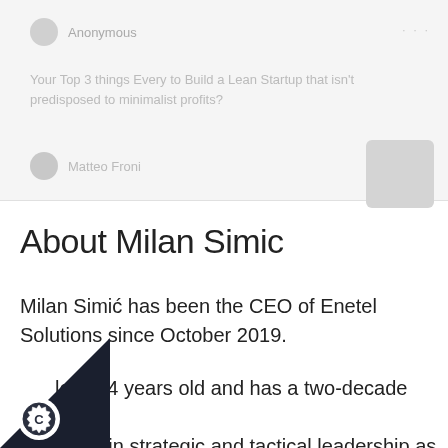[Figure (screenshot): Top faded/blurred section showing an anonymous user row with avatar and name 'Anonymous', followed by faded question text, a 'Matteo Froni' user row, and a blurred action box on the right.]
About Milan Simic
Milan Simić has been the CEO of Enetel Solutions since October 2019.
He is 44 years old and has a two-decade long experience in strategic and tactical leadership as a member of the Executive Board, CIO, and CDO of